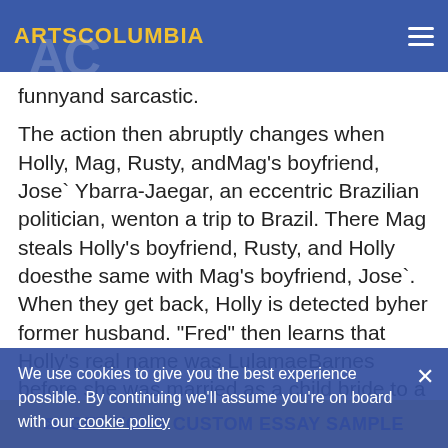ARTSCOLUMBIA
funnyand sarcastic.
The action then abruptly changes when Holly, Mag, Rusty, andMag's boyfriend, Jose` Ybarra-Jaegar, an eccentric Brazilian politician, wenton a trip to Brazil. There Mag steals Holly's boyfriend, Rusty, and Holly doesthe same with Mag's boyfriend, Jose`. When they get back, Holly is detected byher former husband. “Fred” then learns that Holly’s real name was LulamaeBarnes before she was married as a child bride to a southerner named DocGolightly. Also, over this period of time, Holly’s involvement with Mag’sex-bo[y] We use cookies to give you the best experience possible. By continuing we'll assume you're on board with our cookie policy This is a very rough time f[or Holly]. In order toease the pain and more the time, Holly spend more and more
We use cookies to give you the best experience possible. By continuing we'll assume you're on board with our cookie policy
GET YOUR CUSTOM ESSAY SAMPLE